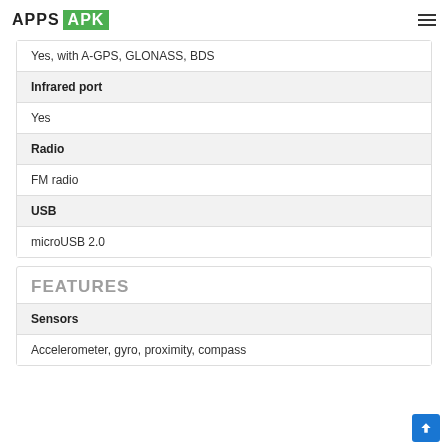APPS APK
| Yes, with A-GPS, GLONASS, BDS |
| Infrared port |
| Yes |
| Radio |
| FM radio |
| USB |
| microUSB 2.0 |
FEATURES
Sensors
Accelerometer, gyro, proximity, compass